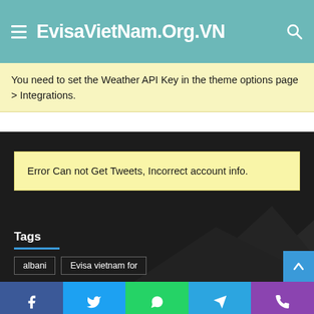EvisaVietNam.Org.VN
You need to set the Weather API Key in the theme options page > Integrations.
Error Can not Get Tweets, Incorrect account info.
Tags
albani
Evisa vietnam for